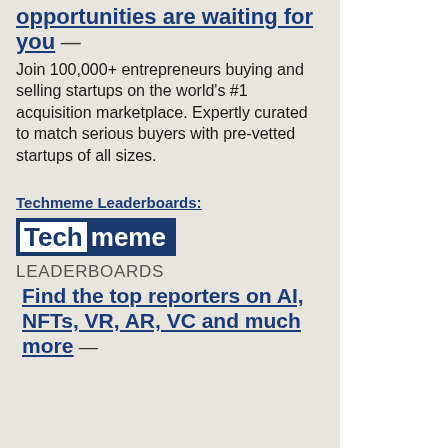opportunities are waiting for you — Join 100,000+ entrepreneurs buying and selling startups on the world's #1 acquisition marketplace. Expertly curated to match serious buyers with pre-vetted startups of all sizes.
Techmeme Leaderboards:
[Figure (logo): Techmeme logo: 'Tech' in white on dark blue background, 'meme' in white text on dark blue, styled as a brand logo]
LEADERBOARDS
Find the top reporters on AI, NFTs, VR, AR, VC and much more —